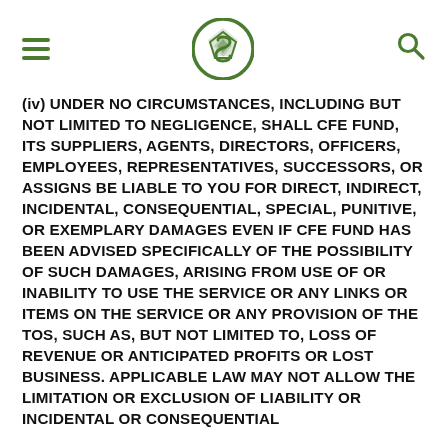CFE Fund website header with hamburger menu, logo, and search icon
(iv) UNDER NO CIRCUMSTANCES, INCLUDING BUT NOT LIMITED TO NEGLIGENCE, SHALL CFE FUND, ITS SUPPLIERS, AGENTS, DIRECTORS, OFFICERS, EMPLOYEES, REPRESENTATIVES, SUCCESSORS, OR ASSIGNS BE LIABLE TO YOU FOR DIRECT, INDIRECT, INCIDENTAL, CONSEQUENTIAL, SPECIAL, PUNITIVE, OR EXEMPLARY DAMAGES EVEN IF CFE FUND HAS BEEN ADVISED SPECIFICALLY OF THE POSSIBILITY OF SUCH DAMAGES, ARISING FROM USE OF OR INABILITY TO USE THE SERVICE OR ANY LINKS OR ITEMS ON THE SERVICE OR ANY PROVISION OF THE TOS, SUCH AS, BUT NOT LIMITED TO, LOSS OF REVENUE OR ANTICIPATED PROFITS OR LOST BUSINESS. APPLICABLE LAW MAY NOT ALLOW THE LIMITATION OR EXCLUSION OF LIABILITY OR INCIDENTAL OR CONSEQUENTIAL